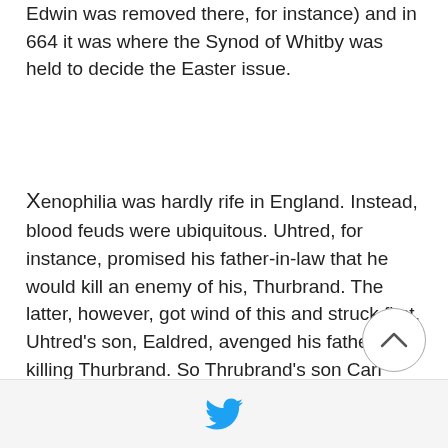Edwin was removed there, for instance) and in 664 it was where the Synod of Whitby was held to decide the Easter issue.
Xenophilia was hardly rife in England. Instead, blood feuds were ubiquitous. Uhtred, for instance, promised his father-in-law that he would kill an enemy of his, Thurbrand. The latter, however, got wind of this and struck first. Uhtred’s son, Ealdred, avenged his father by killing Thurbrand. So Thrubrand’s son Carl sought to ambush Ealdred until their friends intervened and forced a reconciliation. Both pledged friendship and a joint pilgrimage to Rome. In 1038, however, Carl killed Ealdred
[Figure (other): Twitter bird icon in blue, centered in a light grey footer bar at the bottom of the page]